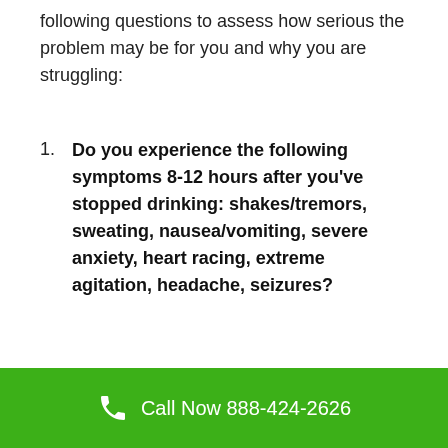following questions to assess how serious the problem may be for you and why you are struggling:
Do you experience the following symptoms 8-12 hours after you've stopped drinking: shakes/tremors, sweating, nausea/vomiting, severe anxiety, heart racing, extreme agitation, headache, seizures?
Call Now 888-424-2626